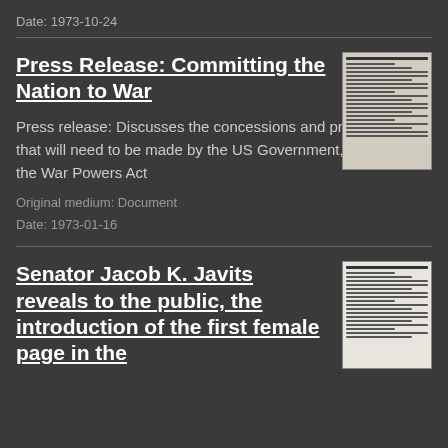Date: 1973-10-24
Press Release: Committing the Nation to War
Press release: Discusses the concessions and preparations that will need to be made by the US Government, including the War Powers Act
Original medium: Document
Date: 1973-01-16
[Figure (photo): Thumbnail of a document page — press release with text lines]
Senator Jacob K. Javits reveals to the public, the introduction of the first female page in the
[Figure (photo): Thumbnail of a document page — typed letter or press release]